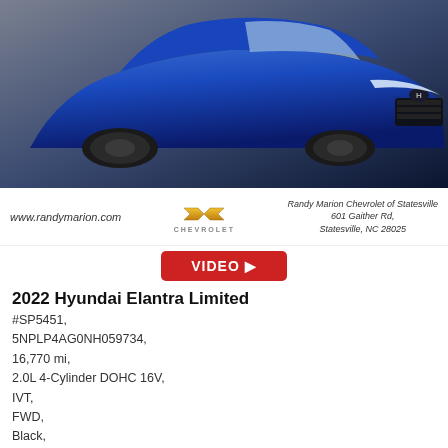[Figure (photo): Blue 2022 Hyundai Elantra Limited photographed from front-left angle on a paved surface]
www.randymarion.com
[Figure (logo): Chevrolet bowtie logo with CHEVROLET text below]
Randy Marion Chevrolet of Statesville
601 Gaither Rd,
Statesville, NC 28025
[Figure (other): VIDEO play button (red rectangle with white VIDEO text and play arrow)]
2022 Hyundai Elantra Limited
#SP5451,
5NPLP4AG0NH059734,
16,770 mi,
2.0L 4-Cylinder DOHC 16V,
IVT,
FWD,
Black,
Intense Blue,
Statesville NC
King of Price: $28,888
[Figure (other): CARSCORE badge showing score 4.9 with a star icon]